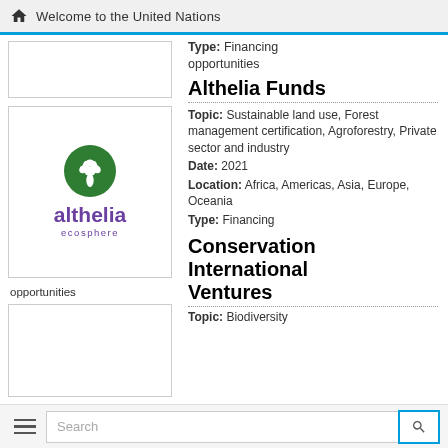Welcome to the United Nations
Type: Financing opportunities
[Figure (logo): Althelia Ecosphere logo — green circle with tree motif, purple text 'althelia ecosphere']
Althelia Funds
Topic: Sustainable land use, Forest management certification, Agroforestry, Private sector and industry
Date: 2021
Location: Africa, Americas, Asia, Europe, Oceania
Type: Financing opportunities
Conservation International Ventures
Topic: Biodiversity